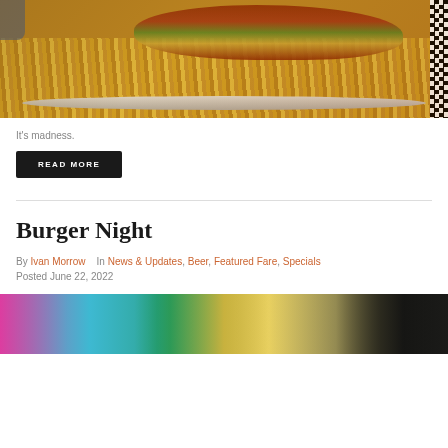[Figure (photo): Photo of a large burger with toppings including lettuce and sauce, surrounded by a pile of french fries on a plate. A checkered border is visible on the right side and a hand is partially visible at the top left.]
It's madness.
READ MORE
Burger Night
By Ivan Morrow    In News & Updates, Beer, Featured Fare, Specials
Posted June 22, 2022
[Figure (photo): Partial view of a colorful image, partially visible at the bottom of the page, with pink, teal, green, yellow and dark tones.]